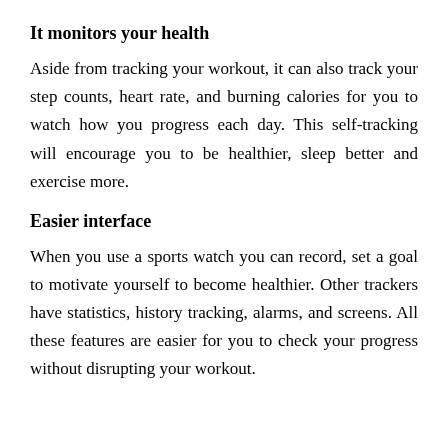It monitors your health
Aside from tracking your workout, it can also track your step counts, heart rate, and burning calories for you to watch how you progress each day. This self-tracking will encourage you to be healthier, sleep better and exercise more.
Easier interface
When you use a sports watch you can record, set a goal to motivate yourself to become healthier. Other trackers have statistics, history tracking, alarms, and screens. All these features are easier for you to check your progress without disrupting your workout.